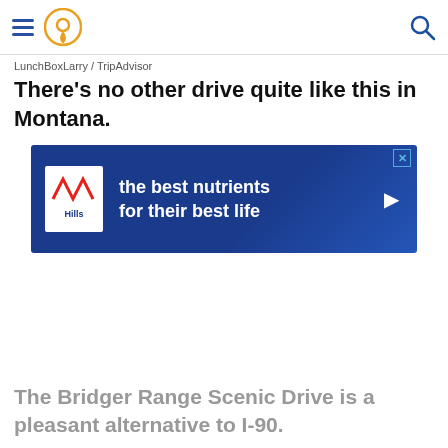Navigation header with hamburger menu, location pin icon, and search icon
LunchBoxLarry / TripAdvisor
There's no other drive quite like this in Montana.
[Figure (other): Advertisement banner for Hill's pet food: 'the best nutrients for their best life' with Hill's logo on blue background]
X
The Bridger Range Scenic Drive is a pleasant alternative to I-90.